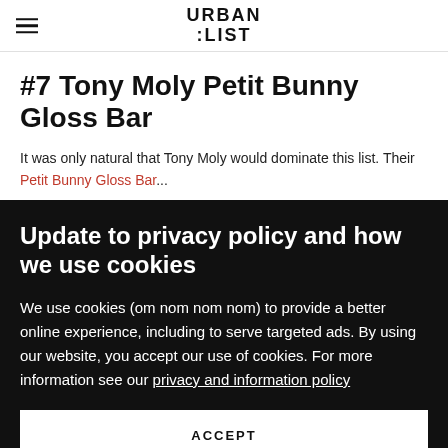URBAN :LIST
#7 Tony Moly Petit Bunny Gloss Bar
It was only natural that Tony Moly would dominate this list. Their Petit Bunny Gloss Bar...
Update to privacy policy and how we use cookies
We use cookies (om nom nom nom) to provide a better online experience, including to serve targeted ads. By using our website, you accept our use of cookies. For more information see our privacy and information policy
ACCEPT